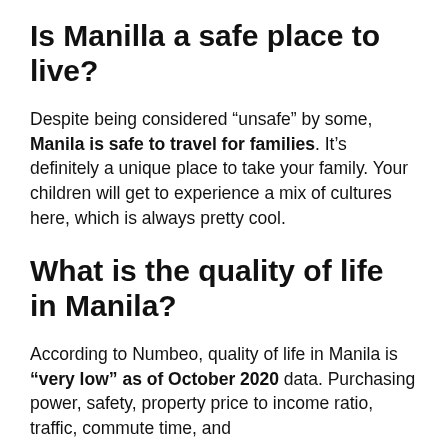Is Manilla a safe place to live?
Despite being considered “unsafe” by some, Manila is safe to travel for families. It’s definitely a unique place to take your family. Your children will get to experience a mix of cultures here, which is always pretty cool.
What is the quality of life in Manila?
According to Numbeo, quality of life in Manila is “very low” as of October 2020 data. Purchasing power, safety, property price to income ratio, traffic, commute time, and...